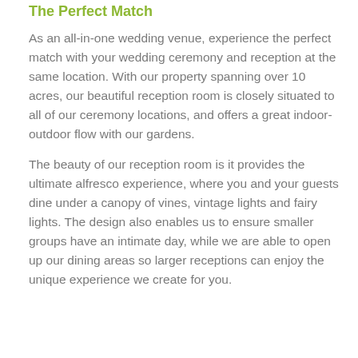The Perfect Match
As an all-in-one wedding venue, experience the perfect match with your wedding ceremony and reception at the same location. With our property spanning over 10 acres, our beautiful reception room is closely situated to all of our ceremony locations, and offers a great indoor-outdoor flow with our gardens.
The beauty of our reception room is it provides the ultimate alfresco experience, where you and your guests dine under a canopy of vines, vintage lights and fairy lights. The design also enables us to ensure smaller groups have an intimate day, while we are able to open up our dining areas so larger receptions can enjoy the unique experience we create for you.